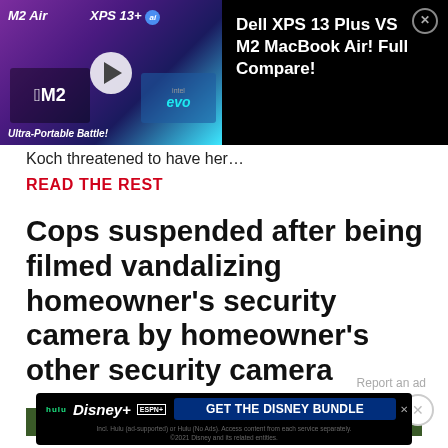[Figure (screenshot): Advertisement banner: M2 Air vs XPS 13+ ai laptop comparison video thumbnail with play button on dark gradient background, text 'Ultra-Portable Battle!']
Dell XPS 13 Plus VS M2 MacBook Air! Full Compare!
Koch threatened to have her…
READ THE REST
Cops suspended after being filmed vandalizing homeowner's security camera by homeowner's other security camera
[Figure (screenshot): Bottom portion of article image showing dark green foliage]
[Figure (screenshot): Disney Bundle advertisement: hulu, Disney+, ESPN+ logos with 'GET THE DISNEY BUNDLE' call to action button. Fine print: Incl. Hulu (ad-supported) or Hulu (No Ads). Access content from each service separately. ©2021 Disney and its related entities.]